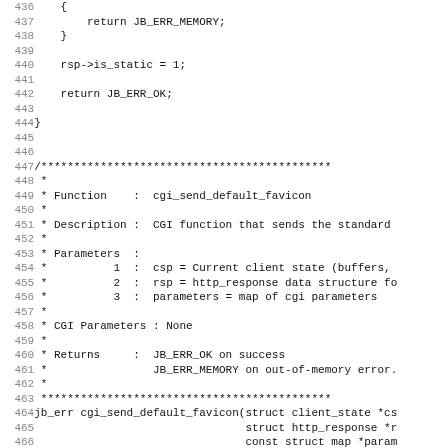[Figure (other): Source code listing (C language) showing lines 436-467, including a function return statement, rsp->is_static assignment, closing brace, a block comment describing cgi_send_default_favicon function, and the function signature.]